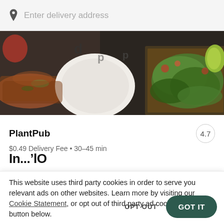Enter delivery address
[Figure (photo): Overhead shot of food dishes on a dark table — nachos with greens and toppings, white plates with various dishes]
PlantPub
$0.49 Delivery Fee • 30–45 min
In...elO (partially visible, cut off)
This website uses third party cookies in order to serve you relevant ads on other websites. Learn more by visiting our Cookie Statement, or opt out of third party ad cookies using the button below.
OPT OUT
GOT IT